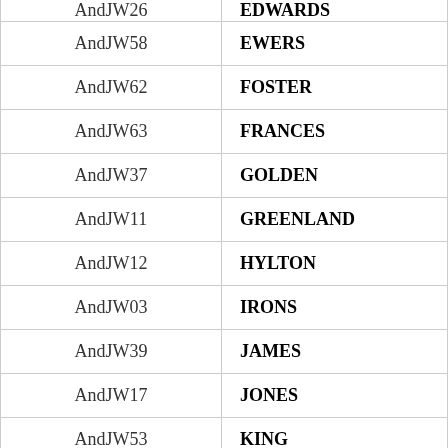| Code | Name |
| --- | --- |
| AndJW26 | EDWARDS |
| AndJW58 | EWERS |
| AndJW62 | FOSTER |
| AndJW63 | FRANCES |
| AndJW37 | GOLDEN |
| AndJW11 | GREENLAND |
| AndJW12 | HYLTON |
| AndJW03 | IRONS |
| AndJW39 | JAMES |
| AndJW17 | JONES |
| AndJW53 | KING |
| AndJW55 | LANGRIN |
| AndJW16 | LYN |